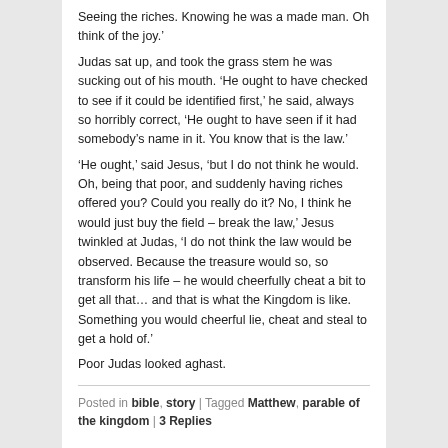Seeing the riches. Knowing he was a made man. Oh think of the joy.'
Judas sat up, and took the grass stem he was sucking out of his mouth. ‘He ought to have checked to see if it could be identified first,’ he said, always so horribly correct, ‘He ought to have seen if it had somebody’s name in it. You know that is the law.’
‘He ought,’ said Jesus, ‘but I do not think he would. Oh, being that poor, and suddenly having riches offered you? Could you really do it? No, I think he would just buy the field – break the law,’ Jesus twinkled at Judas, ‘I do not think the law would be observed. Because the treasure would so, so transform his life – he would cheerfully cheat a bit to get all that… and that is what the Kingdom is like. Something you would cheerful lie, cheat and steal to get a hold of.’
Poor Judas looked aghast.
Posted in bible, story | Tagged Matthew, parable of the kingdom | 3 Replies